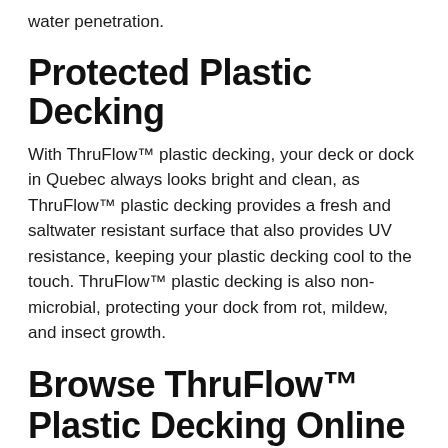water penetration.
Protected Plastic Decking
With ThruFlow™ plastic decking, your deck or dock in Quebec always looks bright and clean, as ThruFlow™ plastic decking provides a fresh and saltwater resistant surface that also provides UV resistance, keeping your plastic decking cool to the touch. ThruFlow™ plastic decking is also non-microbial, protecting your dock from rot, mildew, and insect growth.
Browse ThruFlow™ Plastic Decking Online
With superior service and support, and backed by a 12 year warranty against manufacturers defects, ThruFlow™ plastic decking is the definitive solution for your decking or dock project. Let the ThruFlow™ team promptly ship your plastic decking materials to your in Quebec...